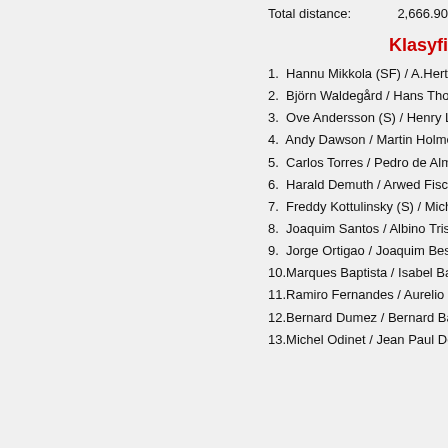Total distance:    2,666.90
Klasyfi
1.  Hannu Mikkola (SF) / A.Hertz (S) –
2.  Björn Waldegård / Hans Thorszeli
3.  Ove Andersson (S) / Henry Liddon
4.  Andy Dawson / Martin Holmes (GB
5.  Carlos Torres / Pedro de Almeida (
6.  Harald Demuth / Arwed Fischer (D
7.  Freddy Kottulinsky (S) / Michael S
8.  Joaquim Santos / Albino Tristao (P
9.  Jorge Ortigao / Joaquim Bessa (P
10. Marques Baptista / Isabel Baptista
11. Ramiro Fernandes / Aurelio Vieira
12. Bernard Dumez / Bernard Baudet
13. Michel Odinet / Jean Paul Detroye